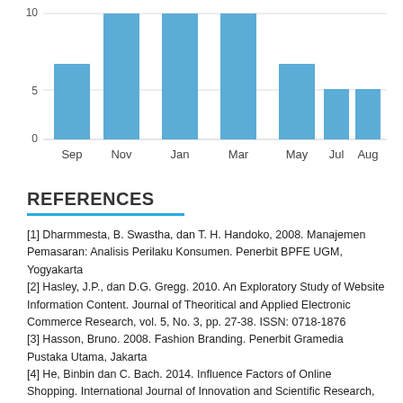[Figure (bar-chart): ]
REFERENCES
[1] Dharmmesta, B. Swastha, dan T. H. Handoko, 2008. Manajemen Pemasaran: Analisis Perilaku Konsumen. Penerbit BPFE UGM, Yogyakarta
[2] Hasley, J.P., dan D.G. Gregg. 2010. An Exploratory Study of Website Information Content. Journal of Theoritical and Applied Electronic Commerce Research, vol. 5, No. 3, pp. 27-38. ISSN: 0718-1876
[3] Hasson, Bruno. 2008. Fashion Branding. Penerbit Gramedia Pustaka Utama, Jakarta
[4] He, Binbin dan C. Bach. 2014. Influence Factors of Online Shopping. International Journal of Innovation and Scientific Research, vol. 2, No. 2, pp. 313-320. ISSN: 23518014
[5] Ikeda, A.A., C.A. Martins dan M.C. Campomar. 2013. Signaling Conditions Consumer Private Produces Differences…